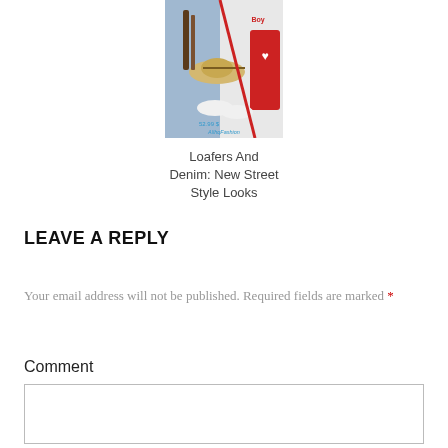[Figure (photo): Fashion collage image showing loafers, denim jeans, a straw hat, and accessories including a red bag, with a logo 'AllhqFashion' and price '52.99 $' visible]
Loafers And Denim: New Street Style Looks
LEAVE A REPLY
Your email address will not be published. Required fields are marked *
Comment